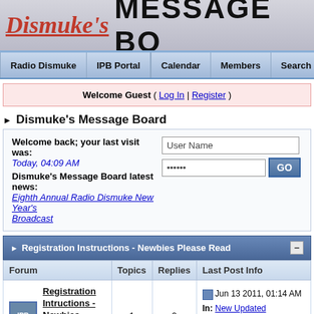Dismuke's MESSAGE BO
Radio Dismuke | IPB Portal | Calendar | Members | Search | Help
Welcome Guest ( Log In | Register )
Dismuke's Message Board
Welcome back; your last visit was: Today, 04:09 AM
Dismuke's Message Board latest news:
Eighth Annual Radio Dismuke New Year's Broadcast
Registration Instructions - Newbies Please Read
| Forum | Topics | Replies | Last Post Info |
| --- | --- | --- | --- |
| Registration Intructions - Newbies Please Read | 1 | 0 | Jun 13 2011, 01:14 AM
In: New Updated Registration Instr...
By: dismuke |